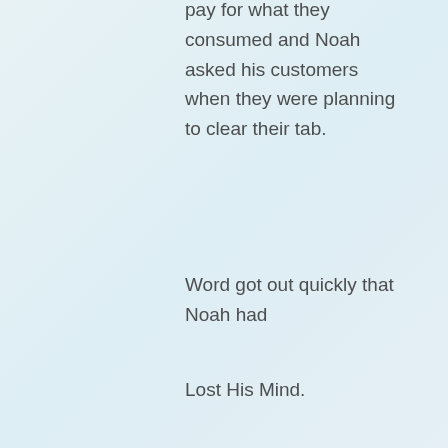pay for what they consumed and Noah asked his customers when they were planning to clear their tab.
Word got out quickly that Noah had
Lost His Mind.